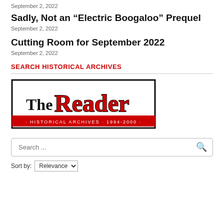September 2, 2022
Sadly, Not an “Electric Boogaloo” Prequel
September 2, 2022
Cutting Room for September 2022
September 2, 2022
SEARCH HISTORICAL ARCHIVES
[Figure (logo): The Reader Historical Archives 1994-2000 logo]
Search ...
Sort by: Relevance